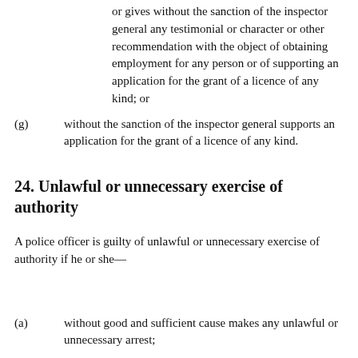or gives without the sanction of the inspector general any testimonial or character or other recommendation with the object of obtaining employment for any person or of supporting an application for the grant of a licence of any kind; or
(g)    without the sanction of the inspector general supports an application for the grant of a licence of any kind.
24. Unlawful or unnecessary exercise of authority
A police officer is guilty of unlawful or unnecessary exercise of authority if he or she—
(a)    without good and sufficient cause makes any unlawful or unnecessary arrest;
(b)    uses any unnecessary violence to any prisoner or any person with whom he or she may be brought into contact in the execution of his or her duty;